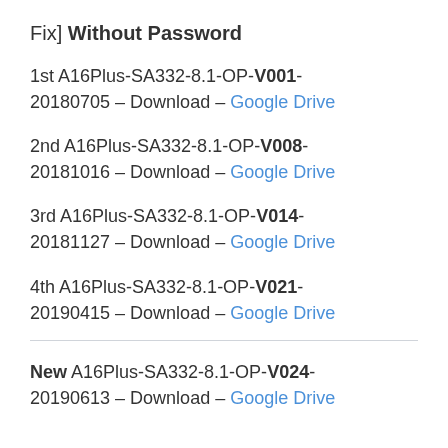Fix] Without Password
1st A16Plus-SA332-8.1-OP-V001-20180705 – Download – Google Drive
2nd A16Plus-SA332-8.1-OP-V008-20181016 – Download – Google Drive
3rd A16Plus-SA332-8.1-OP-V014-20181127 – Download – Google Drive
4th A16Plus-SA332-8.1-OP-V021-20190415 – Download – Google Drive
New A16Plus-SA332-8.1-OP-V024-20190613 – Download – Google Drive